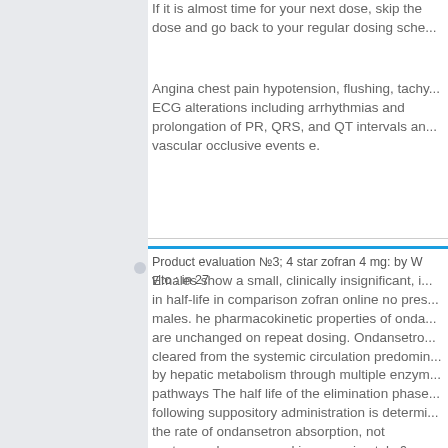If it is almost time for your next dose, skip the dose and go back to your regular dosing sche...
Angina chest pain hypotension, flushing, tachy... ECG alterations including arrhythmias and prolongation of PR, QRS, and QT intervals an... vascular occlusive events e.
Product evaluation №3; 4 star zofran 4 mg: by W vito : in 27
Emales show a small, clinically insignificant, i... in half-life in comparison zofran online no pres... males. he pharmacokinetic properties of onda... are unchanged on repeat dosing. Ondansetro... cleared from the systemic circulation predomin... by hepatic metabolism through multiple enzym... pathways The half life of the elimination phase... following suppository administration is determi... the rate of ondansetron absorption, not system... clearance and is approximately 6 hours.